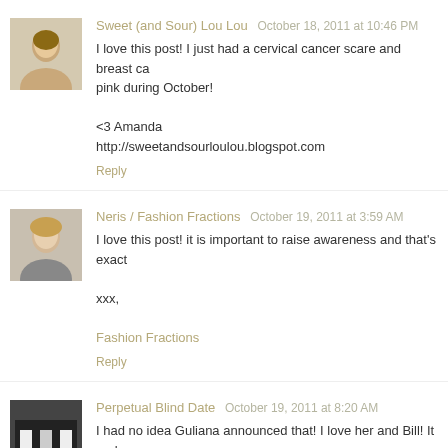Sweet (and Sour) Lou Lou   October 18, 2011 at 10:46 PM
I love this post! I just had a cervical cancer scare and breast ca... pink during October!

<3 Amanda
http://sweetandsourloulou.blogspot.com
Reply
Neris / Fashion Fractions   October 19, 2011 at 3:59 AM
I love this post! it is important to raise awareness and that's exact...

xxx,

Fashion Fractions
Reply
Perpetual Blind Date   October 19, 2011 at 8:20 AM
I had no idea Guliana announced that! I love her and Bill! It real... Alyssa
Reply